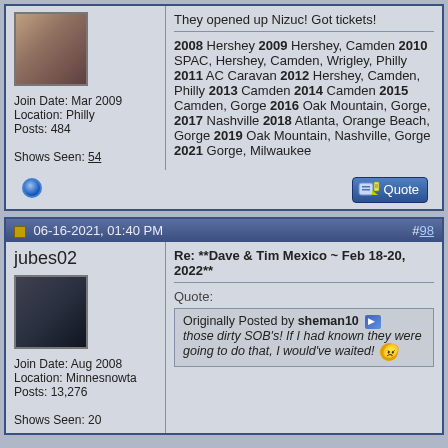They opened up Nizuc! Got tickets!
2008 Hershey 2009 Hershey, Camden 2010 SPAC, Hershey, Camden, Wrigley, Philly 2011 AC Caravan 2012 Hershey, Camden, Philly 2013 Camden 2014 Camden 2015 Camden, Gorge 2016 Oak Mountain, Gorge, 2017 Nashville 2018 Atlanta, Orange Beach, Gorge 2019 Oak Mountain, Nashville, Gorge 2021 Gorge, Milwaukee
Join Date: Mar 2009
Location: Philly
Posts: 484

Shows Seen: 54
06-16-2021, 01:40 PM  #98
jubes02
Join Date: Aug 2008
Location: Minnesnowta
Posts: 13,276
Shows Seen: 20
Re: **Dave & Tim Mexico ~ Feb 18-20, 2022**
Quote: Originally Posted by sheman10 — those dirty SOB's! If I had known they were going to do that, I would've waited!